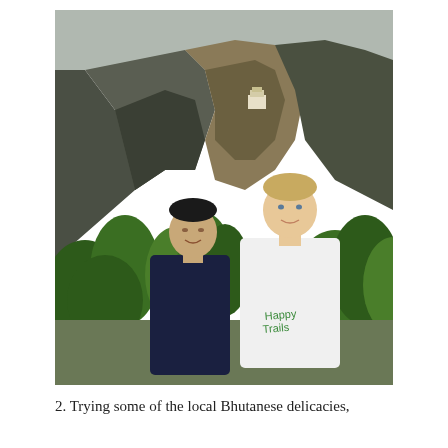[Figure (photo): Two men standing outdoors in front of a dramatic rocky mountain cliff face covered with green trees and vegetation. A monastery or building is visible perched on the cliff in the background. The man on the left is Asian, wearing a dark navy jacket. The man on the right is tall with light skin and blond hair, wearing a white t-shirt with 'Happy Trails' written in green. The sky is overcast.]
2. Trying some of the local Bhutanese delicacies,